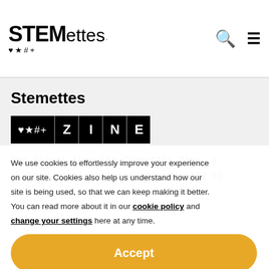STEMettes ♥★#+
Stemettes
[Figure (logo): Stemettes Zine logo badge with symbols ♥★#+ and letters Z I N E in black boxes]
The latest from the Stemettes Zine, a curated space tailored specifically to
We use cookies to effortlessly improve your experience on our site. Cookies also help us understand how our site is being used, so that we can keep making it better. You can read more about it in our cookie policy and change your settings here at any time.
Accept